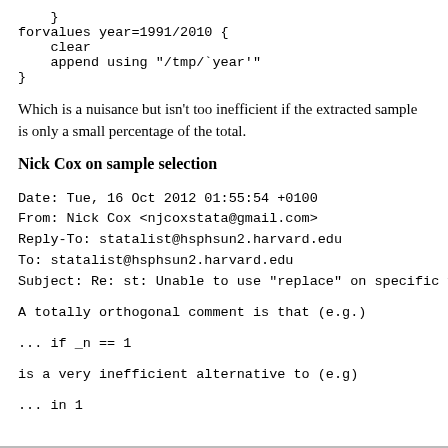}
forvalues year=1991/2010 {
    clear
    append using "/tmp/`year'"
}
Which is a nuisance but isn't too inefficient if the extracted sample is only a small percentage of the total.
Nick Cox on sample selection
Date: Tue, 16 Oct 2012 01:55:54 +0100
From: Nick Cox <njcoxstata@gmail.com>
Reply-To: statalist@hsphsun2.harvard.edu
To: statalist@hsphsun2.harvard.edu
Subject: Re: st: Unable to use "replace" on specific valu
A totally orthogonal comment is that (e.g.)
... if _n == 1
is a very inefficient alternative to (e.g)
... in 1